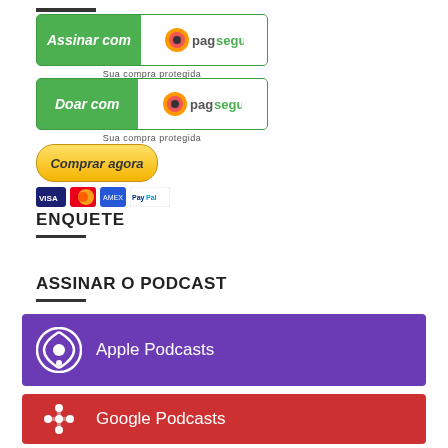[Figure (other): Assinar com PagSeguro button - green button with white text and PagSeguro logo, below it text 'Sua compra protegida']
[Figure (other): Doar com PagSeguro button - green button with white italic text and PagSeguro logo, below it text 'Sua compra protegida']
[Figure (other): Comprar agora PayPal button with Visa, Mastercard, Amex, PayPal icons]
ENQUETE
ASSINAR O PODCAST
[Figure (other): Apple Podcasts subscription button - purple background with podcast icon and text 'Apple Podcasts']
[Figure (other): Google Podcasts subscription button - red background with Google Podcasts icon and text 'Google Podcasts']